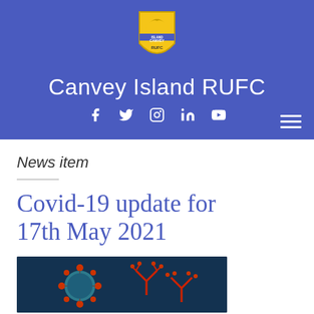[Figure (logo): Canvey Island RUFC club crest logo — yellow shield shape with bird/rugby motif and text]
Canvey Island RUFC
[Figure (other): Social media icons: Facebook, Twitter, Instagram, LinkedIn, YouTube]
News item
Covid-19 update for 17th May 2021
[Figure (photo): Coronavirus particle image — red and orange virus illustration on dark teal background]